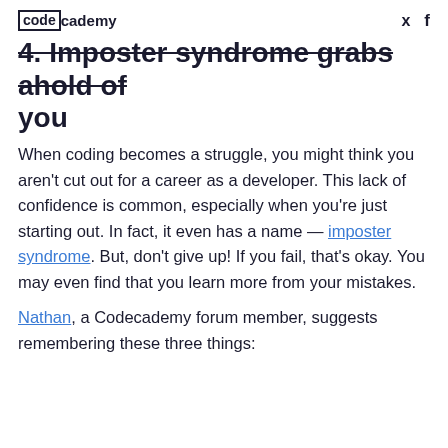codecademy
4. Imposter syndrome grabs ahold of you
When coding becomes a struggle, you might think you aren't cut out for a career as a developer. This lack of confidence is common, especially when you're just starting out. In fact, it even has a name — imposter syndrome. But, don't give up! If you fail, that's okay. You may even find that you learn more from your mistakes.
Nathan, a Codecademy forum member, suggests remembering these three things: